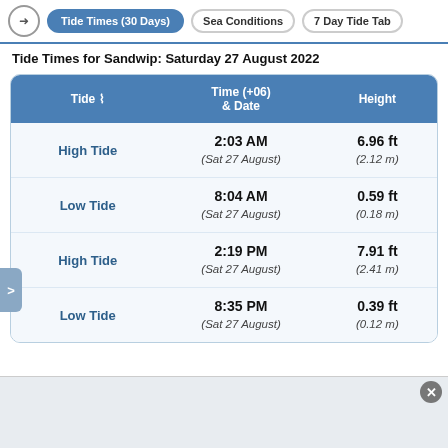Tide Times (30 Days) | Sea Conditions | 7 Day Tide Tab
Tide Times for Sandwip: Saturday 27 August 2022
| Tide | Time (+06) & Date | Height |
| --- | --- | --- |
| High Tide | 2:03 AM
(Sat 27 August) | 6.96 ft
(2.12 m) |
| Low Tide | 8:04 AM
(Sat 27 August) | 0.59 ft
(0.18 m) |
| High Tide | 2:19 PM
(Sat 27 August) | 7.91 ft
(2.41 m) |
| Low Tide | 8:35 PM
(Sat 27 August) | 0.39 ft
(0.12 m) |